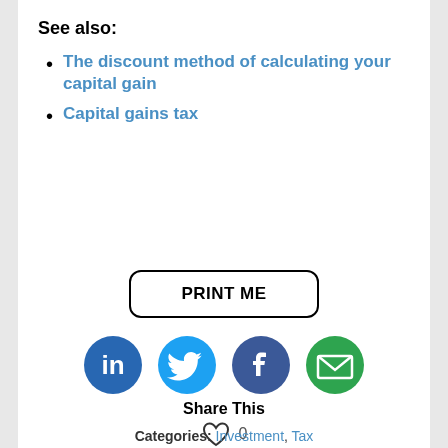See also:
The discount method of calculating your capital gain
Capital gains tax
[Figure (other): PRINT ME button with rounded rectangle border]
[Figure (other): Social sharing icons: LinkedIn (blue circle with 'in'), Twitter (light blue circle with bird), Facebook (dark blue circle with 'f'), Email (green circle with envelope). Below: Share This label.]
[Figure (other): Heart icon outline with count 0. Below: Like This label.]
Categories: Investment, Tax